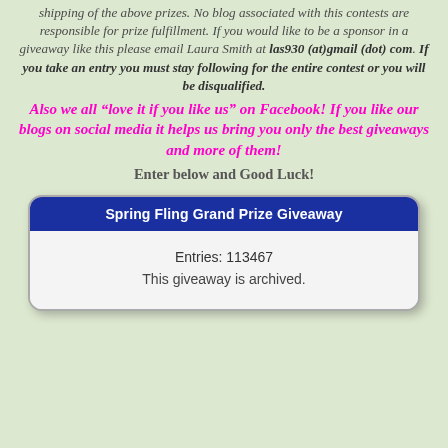shipping of the above prizes. No blog associated with this contests are responsible for prize fulfillment. If you would like to be a sponsor in a giveaway like this please email Laura Smith at las930 (at)gmail (dot) com. If you take an entry you must stay following for the entire contest or you will be disqualified.
Also we all “love it if you like us” on Facebook! If you like our blogs on social media it helps us bring you only the best giveaways and more of them!
Enter below and Good Luck!
Spring Fling Grand Prize Giveaway
Entries: 113467
This giveaway is archived.